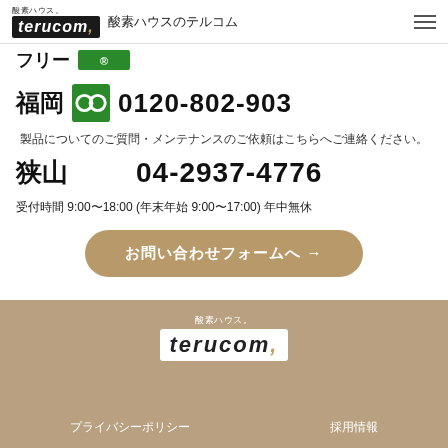酸素ハウス。terucom, 酸素ハウスのテルコム
福岡 0120-802-903
製品についてのご質問・メンテナンスのご依頼はこちらへご連絡ください。
狭山 04-2937-4776
受付時間 9:00〜18:00 (年末年始 9:00〜17:00) 年中無休
お問い合わせフォームへ →
酸素ハウス。terucom, プライバシーポリシー 採用情報